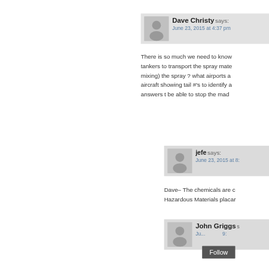Dave Christy says: June 23, 2015 at 4:37 pm
There is so much we need to know... tankers to transport the spray mate... mixing) the spray ? what airports a... aircraft showing tail #'s to identify a... answers t be able to stop  the mad...
jefe says: June 23, 2015 at 8:
Dave– The chemicals are c... Hazardous Materials placar...
John Griggs s... Ju... 9:
Follow